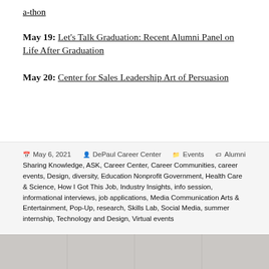a-thon
May 19: Let's Talk Graduation: Recent Alumni Panel on Life After Graduation
May 20: Center for Sales Leadership Art of Persuasion
May 6, 2021 · DePaul Career Center · Events · Alumni Sharing Knowledge, ASK, Career Center, Career Communities, career events, Design, diversity, Education Nonprofit Government, Health Care & Science, How I Got This Job, Industry Insights, info session, informational interviews, job applications, Media Communication Arts & Entertainment, Pop-Up, research, Skills Lab, Social Media, summer internship, Technology and Design, Virtual events